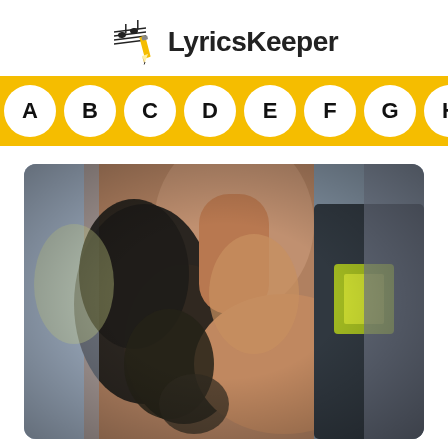[Figure (logo): LyricsKeeper logo with music note and pencil icon, and the text 'LyricsKeeper']
[Figure (infographic): Yellow navigation bar with white circular letter buttons: A B C D E F G H I J]
[Figure (photo): Photo of a bearded shirtless man from behind/side, with a person in a dark t-shirt with yellow graphic visible in the background. The image has blurred/vignette edges.]